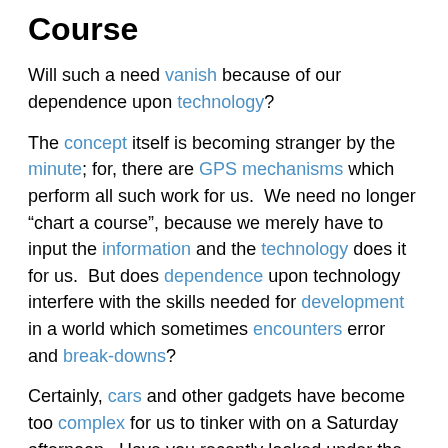Course
Will such a need vanish because of our dependence upon technology?
The concept itself is becoming stranger by the minute; for, there are GPS mechanisms which perform all such work for us.  We need no longer “chart a course”, because we merely have to input the information and the technology does it for us.  But does dependence upon technology interfere with the skills needed for development in a world which sometimes encounters error and break-downs?
Certainly, cars and other gadgets have become too complex for us to tinker with on a Saturday afternoon.  Have you recently looked under the hood of a new car?  Where do you even begin?